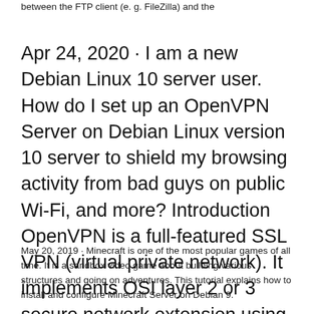between the FTP client (e. g. FileZilla) and the
Apr 24, 2020 · I am a new Debian Linux 10 server user. How do I set up an OpenVPN Server on Debian Linux version 10 server to shield my browsing activity from bad guys on public Wi-Fi, and more? Introduction OpenVPN is a full-featured SSL VPN (virtual private network). It implements OSI layer 2 or 3 secure network extension using the SSL/TLS protocol.
May 20, 2019 · Minecraft is one of the most popular games of all time. It is a sandbox video game about building various structures and going on adventures. This tutorial explains how to install and configure Minecraft Server on Debian 9.